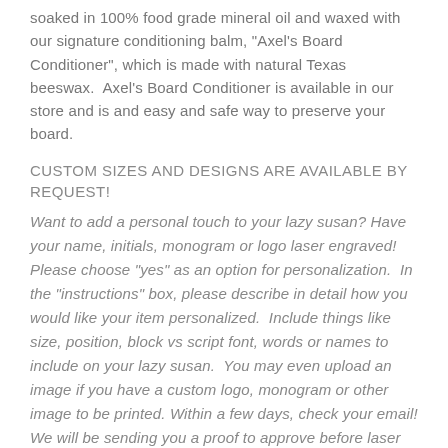soaked in 100% food grade mineral oil and waxed with our signature conditioning balm, "Axel's Board Conditioner", which is made with natural Texas beeswax.  Axel's Board Conditioner is available in our store and is and easy and safe way to preserve your board.
CUSTOM SIZES AND DESIGNS ARE AVAILABLE BY REQUEST!
Want to add a personal touch to your lazy susan? Have your name, initials, monogram or logo laser engraved! Please choose "yes" as an option for personalization.  In the "instructions" box, please describe in detail how you would like your item personalized.  Include things like size, position, block vs script font, words or names to include on your lazy susan.  You may even upload an image if you have a custom logo, monogram or other image to be printed. Within a few days, check your email! We will be sending you a proof to approve before laser engraving your product.